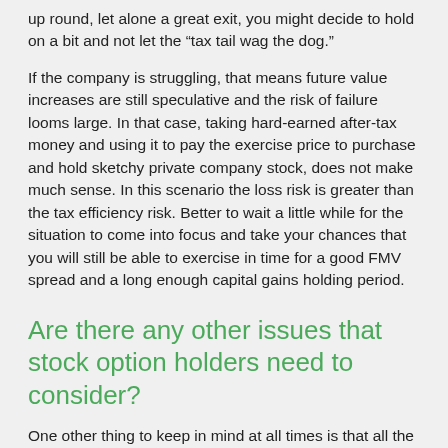up round, let alone a great exit, you might decide to hold on a bit and not let the “tax tail wag the dog.”
If the company is struggling, that means future value increases are still speculative and the risk of failure looms large. In that case, taking hard-earned after-tax money and using it to pay the exercise price to purchase and hold sketchy private company stock, does not make much sense. In this scenario the loss risk is greater than the tax efficiency risk. Better to wait a little while for the situation to come into focus and take your chances that you will still be able to exercise in time for a good FMV spread and a long enough capital gains holding period.
Are there any other issues that stock option holders need to consider?
One other thing to keep in mind at all times is that all the options have an expiration date. Many option plans at companies specify a ten year life, and you don’t want to be